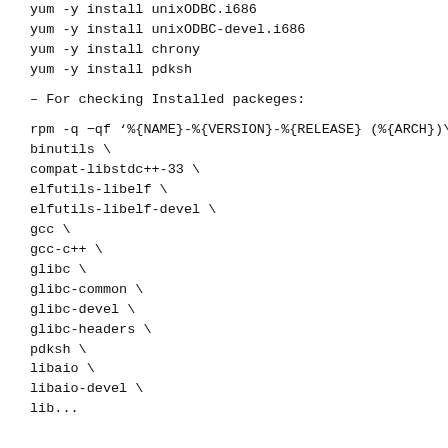yum -y install unixODBC.i686
yum -y install unixODBC-devel.i686
yum -y install chrony
yum -y install pdksh
– For checking Installed packeges:
rpm -q -qf '%{NAME}-%{VERSION}-%{RELEASE} (%{ARCH})\n'
binutils \
compat-libstdc++-33 \
elfutils-libelf \
elfutils-libelf-devel \
gcc \
gcc-c++ \
glibc \
glibc-common \
glibc-devel \
glibc-headers \
pdksh \
libaio \
libaio-devel \
lib...